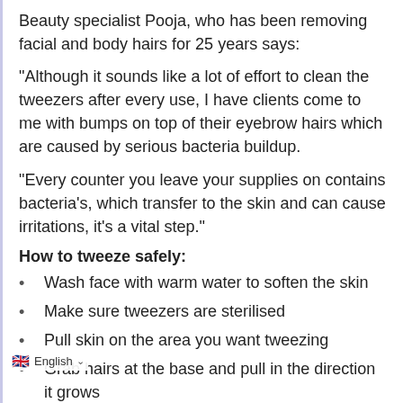Beauty specialist Pooja, who has been removing facial and body hairs for 25 years says:
"Although it sounds like a lot of effort to clean the tweezers after every use, I have clients come to me with bumps on top of their eyebrow hairs which are caused by serious bacteria buildup.
"Every counter you leave your supplies on contains bacteria's, which transfer to the skin and can cause irritations, it's a vital step."
How to tweeze safely:
Wash face with warm water to soften the skin
Make sure tweezers are sterilised
Pull skin on the area you want tweezing
Grab hairs at the base and pull in the direction it grows